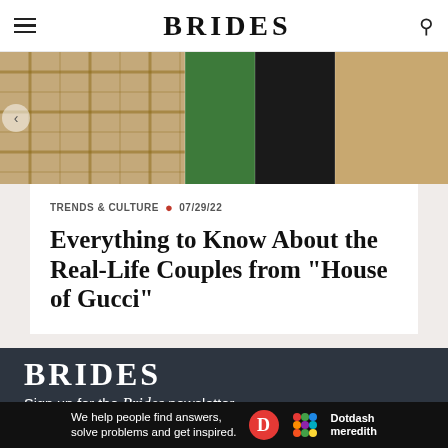BRIDES
[Figure (photo): Cropped photo strip showing fashion/clothing details from House of Gucci movie cast]
TRENDS & CULTURE • 07/29/22
Everything to Know About the Real-Life Couples from "House of Gucci"
[Figure (logo): BRIDES logo in white on dark background]
Sign up for the Brides newsletter.
ONE-TAP SUBSCRIBE
[Figure (infographic): Dotdash Meredith banner ad: We help people find answers, solve problems and get inspired.]